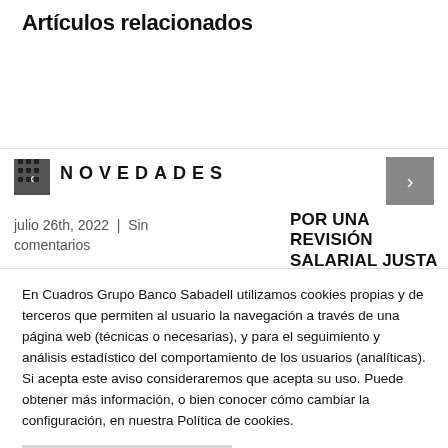Artículos relacionados
NOVEDADES
julio 26th, 2022  |  Sin comentarios
POR UNA REVISIÓN SALARIAL JUSTA
En Cuadros Grupo Banco Sabadell utilizamos cookies propias y de terceros que permiten al usuario la navegación a través de una página web (técnicas o necesarias), y para el seguimiento y análisis estadístico del comportamiento de los usuarios (analíticas). Si acepta este aviso consideraremos que acepta su uso. Puede obtener más información, o bien conocer cómo cambiar la configuración, en nuestra Política de cookies.